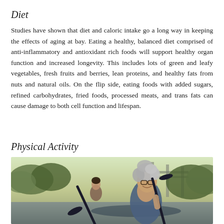Diet
Studies have shown that diet and caloric intake go a long way in keeping the effects of aging at bay. Eating a healthy, balanced diet comprised of anti-inflammatory and antioxidant rich foods will support healthy organ function and increased longevity. This includes lots of green and leafy vegetables, fresh fruits and berries, lean proteins, and healthy fats from nuts and natural oils. On the flip side, eating foods with added sugars, refined carbohydrates, fried foods, processed meats, and trans fats can cause damage to both cell function and lifespan.
Physical Activity
[Figure (photo): An older woman with gray curly hair smiling and holding a kayak paddle outdoors near water, with another person visible in the background and a bridge structure behind them.]